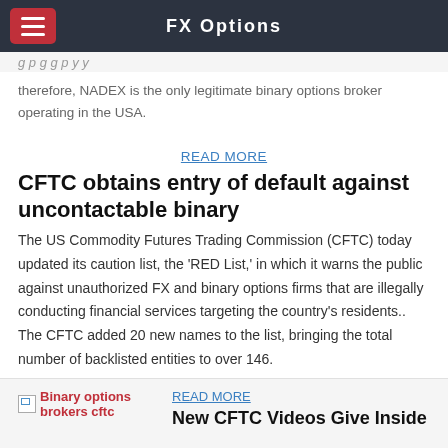FX Options
therefore, NADEX is the only legitimate binary options broker operating in the USA.
READ MORE
CFTC obtains entry of default against uncontactable binary
The US Commodity Futures Trading Commission (CFTC) today updated its caution list, the 'RED List,' in which it warns the public against unauthorized FX and binary options firms that are illegally conducting financial services targeting the country's residents.. The CFTC added 20 new names to the list, bringing the total number of backlisted entities to over 146.
[Figure (photo): Binary options brokers cftc - placeholder image icon]
Binary options brokers cftc
READ MORE
New CFTC Videos Give Inside